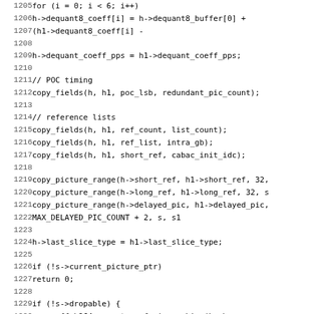[Figure (other): Source code listing in C (FFmpeg H.264 decoder), lines 1205-1236, showing code for copying decoder context fields including dequant coefficients, POC timing, reference lists, picture ranges, and state variables.]